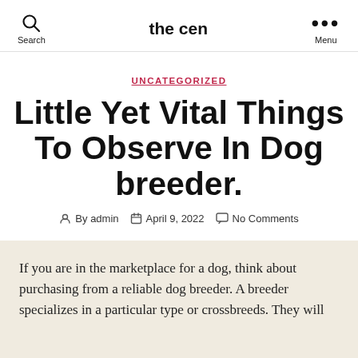the cen
UNCATEGORIZED
Little Yet Vital Things To Observe In Dog breeder.
By admin   April 9, 2022   No Comments
If you are in the marketplace for a dog, think about purchasing from a reliable dog breeder. A breeder specializes in a particular type or crossbreeds. They will